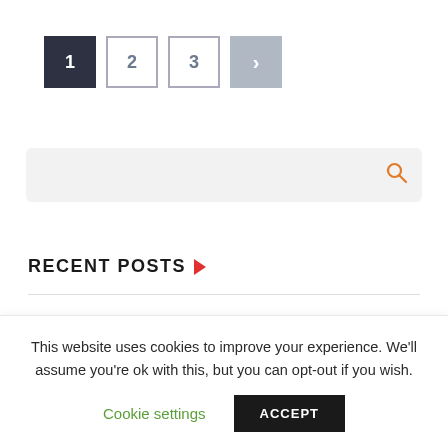[Figure (other): Pagination control with buttons: 1 (active, dark background), 2, 3, and a next arrow (>)]
[Figure (other): Search bar with a light grey background and an orange magnifying glass icon on the right]
RECENT POSTS
This website uses cookies to improve your experience. We'll assume you're ok with this, but you can opt-out if you wish.
Cookie settings   ACCEPT